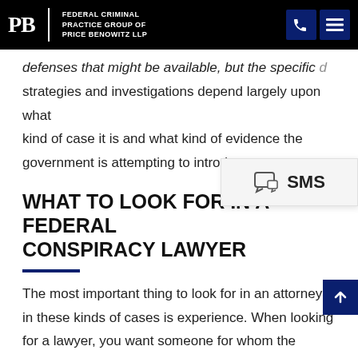Federal Criminal Practice Group of Price Benowitz LLP
defenses that might be available, but the specific strategies and investigations depend largely upon what kind of case it is and what kind of evidence the government is attempting to introduce.
WHAT TO LOOK FOR IN A FEDERAL CONSPIRACY LAWYER
The most important thing to look for in an attorney in these kinds of cases is experience. When looking for a lawyer, you want someone for whom the learning curve is going be small or non-existent. You want someone who can hit the ground running, who knows what evidence to look for